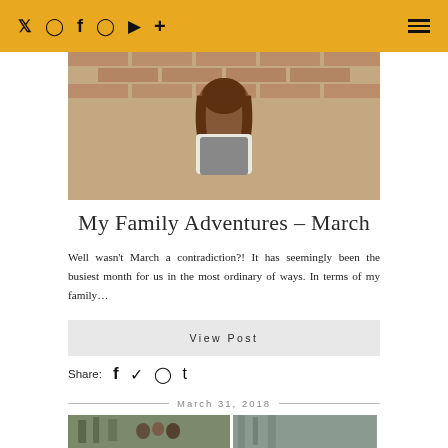Twitter Instagram Facebook Pinterest YouTube Plus | Menu
[Figure (photo): Photo of a person with brown hair sitting against a brick wall, seen from behind]
My Family Adventures – March
Well wasn't March a contradiction?! It has seemingly been the busiest month for us in the most ordinary of ways. In terms of my family…
View Post
Share:  f  Twitter  Pinterest  Tumblr
March 31, 2018
[Figure (photo): Family photo taken outdoors among trees, two side-by-side images]